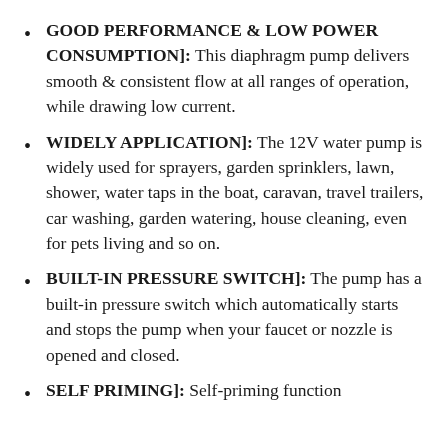GOOD PERFORMANCE & LOW POWER CONSUMPTION]: This diaphragm pump delivers smooth & consistent flow at all ranges of operation, while drawing low current.
WIDELY APPLICATION]: The 12V water pump is widely used for sprayers, garden sprinklers, lawn, shower, water taps in the boat, caravan, travel trailers, car washing, garden watering, house cleaning, even for pets living and so on.
BUILT-IN PRESSURE SWITCH]: The pump has a built-in pressure switch which automatically starts and stops the pump when your faucet or nozzle is opened and closed.
SELF PRIMING]: Self-priming function